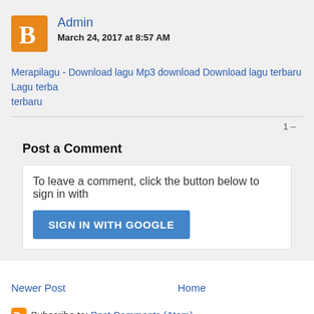[Figure (illustration): Blogger user avatar icon: orange square with white letter B silhouette]
Admin
March 24, 2017 at 8:57 AM
Merapilagu - Download lagu Mp3 download Download lagu terbaru Lagu terbaru terbaru
1 –
Post a Comment
To leave a comment, click the button below to sign in with
SIGN IN WITH GOOGLE
Newer Post
Home
Subscribe to: Post Comments (Atom)